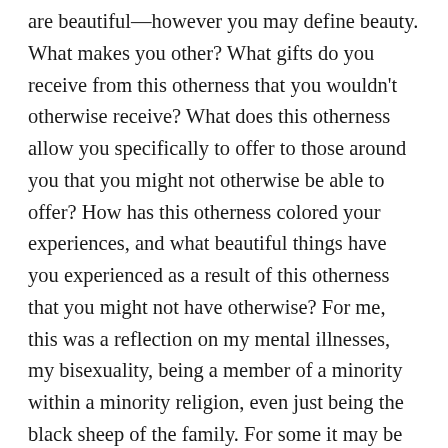are beautiful—however you may define beauty. What makes you other? What gifts do you receive from this otherness that you wouldn't otherwise receive? What does this otherness allow you specifically to offer to those around you that you might not otherwise be able to offer? How has this otherness colored your experiences, and what beautiful things have you experienced as a result of this otherness that you might not have otherwise? For me, this was a reflection on my mental illnesses, my bisexuality, being a member of a minority within a minority religion, even just being the black sheep of the family. For some it may be hard to find blessings in your otherness, but if you can speak them out loud and take time to appreciate and feel gratitude for